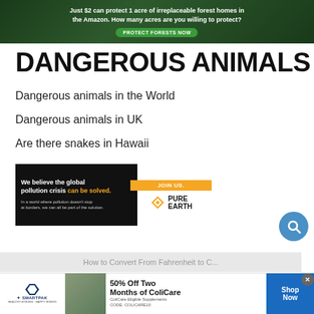[Figure (infographic): Top banner ad: 'Just $2 can protect 1 acre of irreplaceable forest homes in the Amazon. How many acres are you willing to protect?' with green 'PROTECT FORESTS NOW' button on dark forest background]
DANGEROUS ANIMALS
Dangerous animals in the World
Dangerous animals in UK
Are there snakes in Hawaii
[Figure (infographic): Pure Earth ad: black background left side with text 'We believe the global pollution crisis can be solved.' and small subtext, right side white with orange JOIN US button and Pure Earth logo with diamond shape]
How to Convert From Fahrenheit to C...
[Figure (infographic): SmartPak bottom banner ad: 50% Off Two Months of ColiCare, ColiCare Eligible Supplements, CODE: COLICARE10, with Shop Now button]